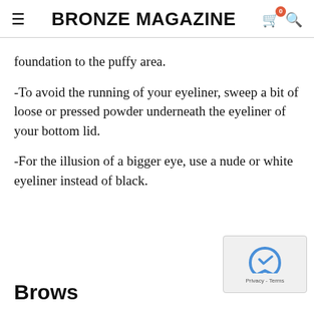BRONZE MAGAZINE
foundation to the puffy area.
-To avoid the running of your eyeliner, sweep a bit of loose or pressed powder underneath the eyeliner of your bottom lid.
-For the illusion of a bigger eye, use a nude or white eyeliner instead of black.
Brows
[Figure (other): reCAPTCHA Privacy - Terms widget in bottom right corner]